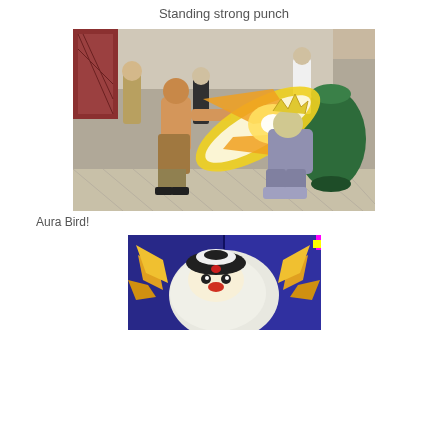Standing strong punch
[Figure (screenshot): Video game screenshot showing two fighting game characters: a shirtless character in brown pants performing a punch move with a golden energy bird/aura effect striking a crouching silver-armored opponent. Background shows a Chinese courtyard with other fighter characters and a large green vase.]
Aura Bird!
[Figure (screenshot): Video game screenshot showing a character with a large round white/yellow body and golden wings/feathers, with a dark purple/blue background. The image appears to be split showing two states or angles of the same character.]